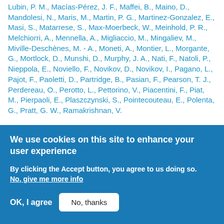Lubin, P. M., Macías-Pérez, J. F., Maffei, B., Maino, D., Mandolesi, N., Maris, M., Martin, P. G., Martinez-Gonzalez, E., Masi, S., Matarrese, S., Max-Moerbeck, W., Meinhold, P. R., Melchiorri, A., Mennella, A., Migliaccio, M., Mingaliev, M., Miville-Deschènes, M. - A., Moneti, A., Montier, L., Morgante, G., Mortlock, D., Munshi, D., Murphy, J. A., Nati, F., Natoli, P., Nieppola, E., Noviello, F., Novikov, D., Novikov, I., Pagano, L., Pajot, F., Paoletti, D., Partridge, B., Pasian, F., Pearson, T. J., Perdereau, O., Perotto, L., Pettorino, V., Piacentini, F., Piat, M., Pierpaoli, E., Plaszczynski, S., Pointecouteau, E., Polenta, G., Pratt, G. W., Ramakrishnan, V.
We use cookies on this site to enhance your user experience
By clicking the Accept button, you agree to us doing so.
No, give me more info
OK, I agree
No, thanks